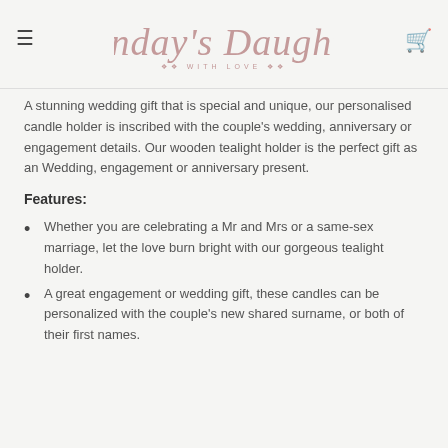Sunday's Daughter WITH LOVE
A stunning wedding gift that is special and unique, our personalised candle holder is inscribed with the couple's wedding, anniversary or engagement details. Our wooden tealight holder is the perfect gift as an Wedding, engagement or anniversary present.
Features:
Whether you are celebrating a Mr and Mrs or a same-sex marriage, let the love burn bright with our gorgeous tealight holder.
A great engagement or wedding gift, these candles can be personalized with the couple's new shared surname, or both of their first names.